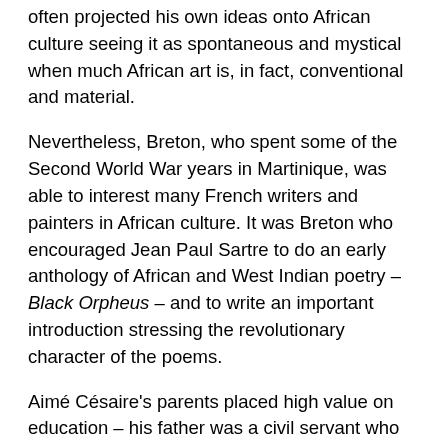often projected his own ideas onto African culture seeing it as spontaneous and mystical when much African art is, in fact, conventional and material.
Nevertheless, Breton, who spent some of the Second World War years in Martinique, was able to interest many French writers and painters in African culture. It was Breton who encouraged Jean Paul Sartre to do an early anthology of African and West Indian poetry – Black Orpheus – and to write an important introduction stressing the revolutionary character of the poems.
Aimé Césaire's parents placed high value on education – his father was a civil servant who encouraged his children to read and to take school seriously. Thus Césaire ranked first in his secondary school class and received a scholarship in 1931 to go to France to study at l'Ecole Normale Supériéure – a university-level institution which trains university professors and elite secondary school teachers. He was in the same class with Léopold Sédar Senghor and Leon Damas from Senegal.